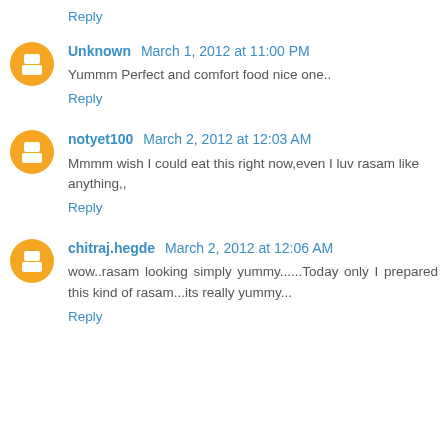Reply
Unknown March 1, 2012 at 11:00 PM
Yummm Perfect and comfort food nice one..
Reply
notyet100 March 2, 2012 at 12:03 AM
Mmmm wish I could eat this right now,even I luv rasam like anything,,
Reply
chitraj.hegde March 2, 2012 at 12:06 AM
wow..rasam looking simply yummy......Today only I prepared this kind of rasam...its really yummy...
Reply